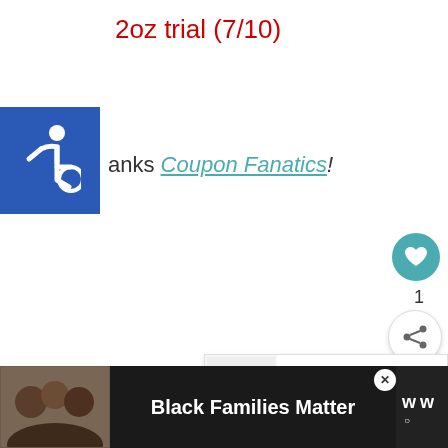2oz trial (7/10)
[Figure (illustration): Blue square with white wheelchair accessibility icon]
anks Coupon Fanatics!
[Figure (infographic): Floating heart/like button (teal circle with heart icon), like count '1', and share button]
[Figure (infographic): What's Next panel showing Sunday Coupon... with thumbnail]
[Figure (photo): Ad bar at bottom: photo of smiling family, text 'Black Families Matter', close X, Wordmark logo]